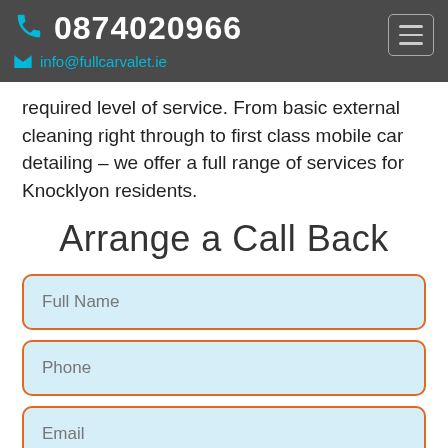0874020966  info@fullcarvalet.ie
required level of service. From basic external cleaning right through to first class mobile car detailing – we offer a full range of services for Knocklyon residents.
Arrange a Call Back
Full Name
Phone
Email
Write Us